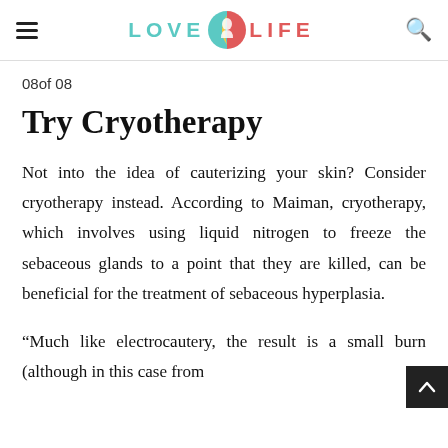LOVE LIFE (logo with icon)
08of 08
Try Cryotherapy
Not into the idea of cauterizing your skin? Consider cryotherapy instead. According to Maiman, cryotherapy, which involves using liquid nitrogen to freeze the sebaceous glands to a point that they are killed, can be beneficial for the treatment of sebaceous hyperplasia.
“Much like electrocautery, the result is a small burn (although in this case from